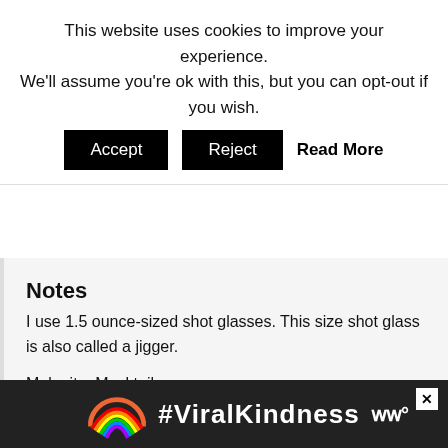This website uses cookies to improve your experience. We'll assume you're ok with this, but you can opt-out if you wish.
Accept | Reject | Read More
Notes
I use 1.5 ounce-sized shot glasses. This size shot glass is also called a jigger.
Make it a Mocktail:
To make the mocktail, you simply omit the tequila and triple sec, use 1 shot of no pulp orange juice and top it off with sparkling water.
[Figure (infographic): Advertisement banner at the bottom showing a rainbow illustration and the text #ViralKindness on a dark background.]